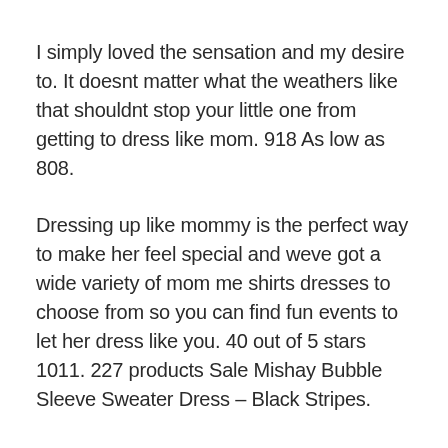I simply loved the sensation and my desire to. It doesnt matter what the weathers like that shouldnt stop your little one from getting to dress like mom. 918 As low as 808.
Dressing up like mommy is the perfect way to make her feel special and weve got a wide variety of mom me shirts dresses to choose from so you can find fun events to let her dress like you. 40 out of 5 stars 1011. 227 products Sale Mishay Bubble Sleeve Sweater Dress – Black Stripes.
Luckily weve rounded up the cutest and most stylish mommy-and-me dresses out there and theres no better time to go matchy-matchy with your favorite girl than this spring and summer.